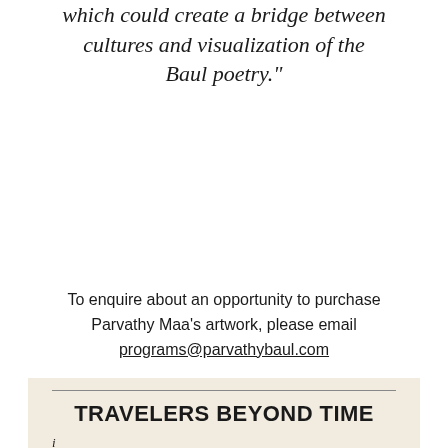which could create a bridge between cultures and visualization of the Baul poetry."
To enquire about an opportunity to purchase Parvathy Maa's artwork, please email programs@parvathybaul.com
TRAVELERS BEYOND TIME
i